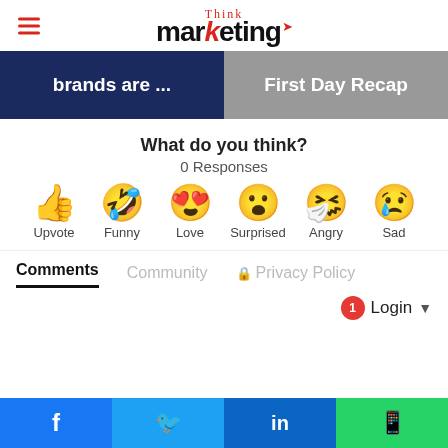Think marketing
[Figure (screenshot): Two article thumbnail banners: left shows 'brands are ...' on dark blue background, right shows 'First Day Recap' on grey background]
What do you think?
0 Responses
[Figure (infographic): Six reaction emojis in a row: Upvote (thumbs up), Funny (laughing with tongue), Love (heart eyes), Surprised (wide-eyed), Angry (crying with snot), Sad (crying with tear)]
Comments   Community   Privacy Policy
1  Login
[Figure (infographic): Social share bar at bottom: Facebook, Twitter, LinkedIn, WhatsApp buttons]